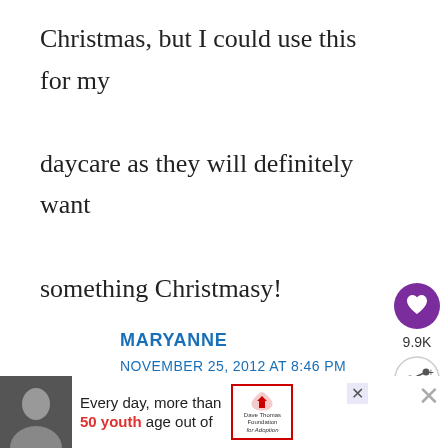Christmas, but I could use this for my daycare as they will definitely want something Christmasy!
MARYANNE
NOVEMBER 25, 2012 AT 8:46 PM
[Figure (infographic): Heart/like button (purple circle with heart icon) and share button, with count 9.9K]
9.9K
[Figure (infographic): What's next promo: thumbnail image with text 'WHAT'S NEXT → Christmas Family Time:...']
[Figure (infographic): Advertisement banner: photo of person, text 'Every day, more than 50 youth age out of' with Dave Thomas Foundation for Adoption logo]